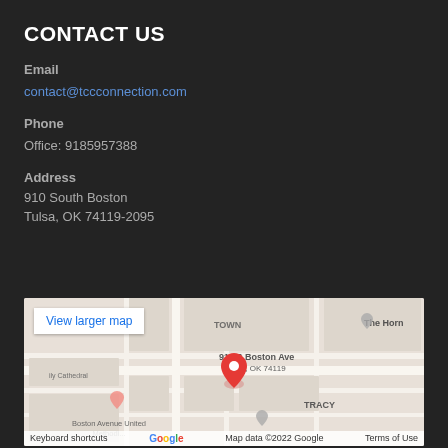CONTACT US
Email
contact@tccconnection.com
Phone
Office: 9185957388
Address
910 South Boston
Tulsa, OK 74119-2095
[Figure (map): Google Maps embed showing 910 S Boston Ave, Tulsa, OK 74119 with a location pin. Nearby landmarks include The Hom, Boston Avenue United Methodist, and Family Cathedral. A 'View larger map' button is visible in the upper left. Footer shows 'Keyboard shortcuts | Map data ©2022 Google | Terms of Use'.]